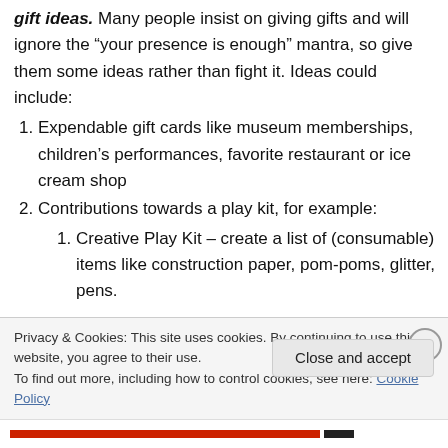gift ideas. Many people insist on giving gifts and will ignore the “your presence is enough” mantra, so give them some ideas rather than fight it. Ideas could include:
Expendable gift cards like museum memberships, children’s performances, favorite restaurant or ice cream shop
Contributions towards a play kit, for example:
Creative Play Kit – create a list of (consumable) items like construction paper, pom-poms, glitter, pens.
Privacy & Cookies: This site uses cookies. By continuing to use this website, you agree to their use. To find out more, including how to control cookies, see here: Cookie Policy